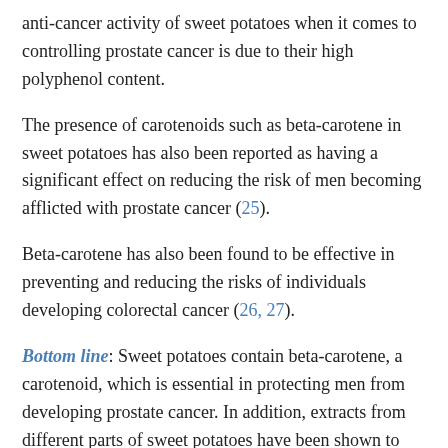anti-cancer activity of sweet potatoes when it comes to controlling prostate cancer is due to their high polyphenol content.
The presence of carotenoids such as beta-carotene in sweet potatoes has also been reported as having a significant effect on reducing the risk of men becoming afflicted with prostate cancer (25).
Beta-carotene has also been found to be effective in preventing and reducing the risks of individuals developing colorectal cancer (26, 27).
Bottom line: Sweet potatoes contain beta-carotene, a carotenoid, which is essential in protecting men from developing prostate cancer. In addition, extracts from different parts of sweet potatoes have been shown to accelerate the death of breast, gastric, colorectal, and prostate cancers, limiting the growth and spread of them.